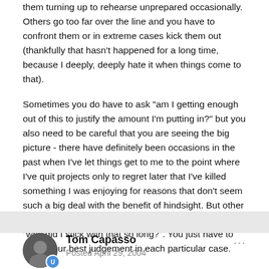them turning up to rehearse unprepared occasionally. Others go too far over the line and you have to confront them or in extreme cases kick them out (thankfully that hasn't happened for a long time, because I deeply, deeply hate it when things come to that).
Sometimes you do have to ask "am I getting enough out of this to justify the amount I'm putting in?" but you also need to be careful that you are seeing the big picture - there have definitely been occasions in the past when I've let things get to me to the point where I've quit projects only to regret later that I've killed something I was enjoying for reasons that don't seem such a big deal with the benefit of hindsight. But other times I've left something reluctantly and later thought, "why did I stick with that so long?". You just have to make your best judgement in each particular case.
Tom Capasso
Posted April 29, 2004
As most have said, I understand and have had to deal with this.